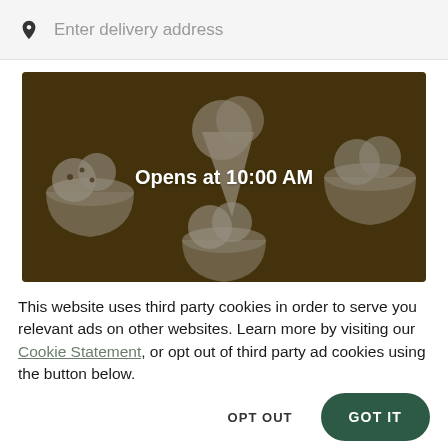Enter delivery address
[Figure (photo): Hero image of ice cream scoops in white cups/cones on a wooden surface, with a dark overlay, showing text 'Opens at 10:00 AM' centered on the image.]
This website uses third party cookies in order to serve you relevant ads on other websites. Learn more by visiting our Cookie Statement, or opt out of third party ad cookies using the button below.
OPT OUT
GOT IT